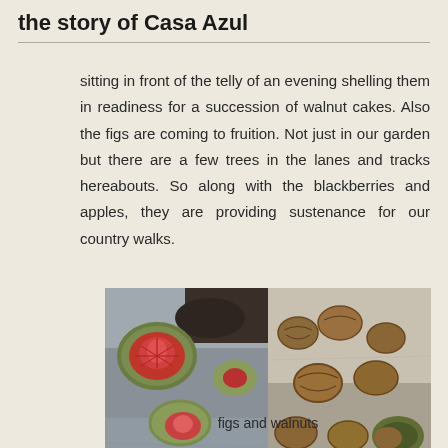the story of Casa Azul
sitting in front of the telly of an evening shelling them in readiness for a succession of walnut cakes. Also the figs are coming to fruition. Not just in our garden but there are a few trees in the lanes and tracks hereabouts. So along with the blackberries and apples, they are providing sustenance for our country walks.
[Figure (photo): Two photos side by side: left shows cut-open green figs revealing red interior on a stone surface; right shows several whole walnuts on a stone surface.]
figs and walnuts